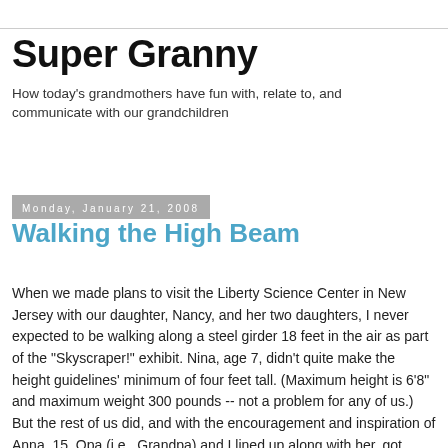Super Granny
How today's grandmothers have fun with, relate to, and communicate with our grandchildren
Monday, January 21, 2008
Walking the High Beam
When we made plans to visit the Liberty Science Center in New Jersey with our daughter, Nancy, and her two daughters, I never expected to be walking along a steel girder 18 feet in the air as part of the "Skyscraper!" exhibit. Nina, age 7, didn't quite make the height guidelines' minimum of four feet tall. (Maximum height is 6'8" and maximum weight 300 pounds -- not a problem for any of us.) But the rest of us did, and with the encouragement and inspiration of Anna, 15, Opa (i.e., Grandpa) and I lined up along with her, got strapped into our safety harnesses (just like the kind real construction workers wear), and walked the